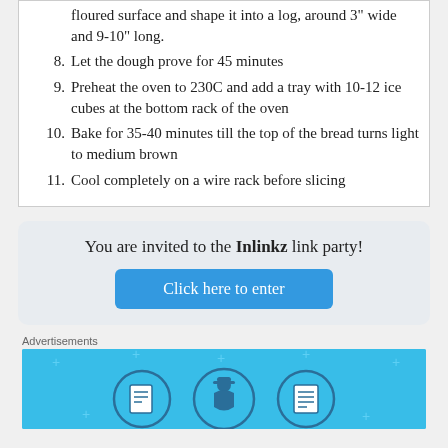floured surface and shape it into a log, around 3" wide and 9-10" long.
8. Let the dough prove for 45 minutes
9. Preheat the oven to 230C and add a tray with 10-12 ice cubes at the bottom rack of the oven
10. Bake for 35-40 minutes till the top of the bread turns light to medium brown
11. Cool completely on a wire rack before slicing
You are invited to the Inlinkz link party!
Click here to enter
Advertisements
[Figure (illustration): Blue advertisement banner with illustrated icons of documents and a person with a hard hat]